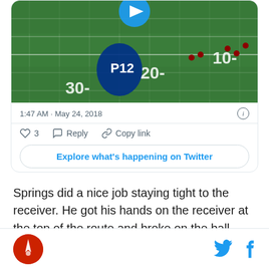[Figure (screenshot): Screenshot of a football field from a PAC-12 game video with a blue play button overlay, showing yard lines at 30, 20, 10]
1:47 AM · May 24, 2018
♡ 3   Reply   Copy link
Explore what's happening on Twitter
Springs did a nice job staying tight to the receiver. He got his hands on the receiver at the top of the route and broke on the ball better than the receiver did. He might have been a little too handsy, and he'll have to
Logo and social media icons (Twitter, Facebook)